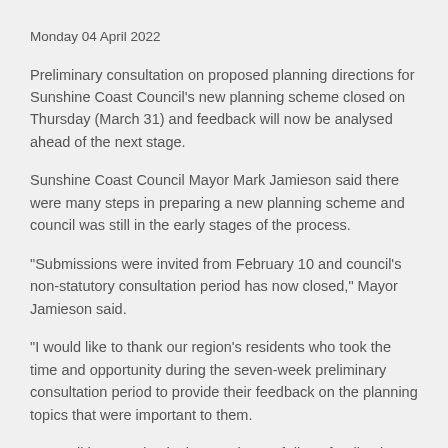Monday 04 April 2022
Preliminary consultation on proposed planning directions for Sunshine Coast Council's new planning scheme closed on Thursday (March 31) and feedback will now be analysed ahead of the next stage.
Sunshine Coast Council Mayor Mark Jamieson said there were many steps in preparing a new planning scheme and council was still in the early stages of the process.
“Submissions were invited from February 10 and council’s non-statutory consultation period has now closed,” Mayor Jamieson said.
“I would like to thank our region’s residents who took the time and opportunity during the seven-week preliminary consultation period to provide their feedback on the planning topics that were important to them.
“Council has received a large volume of direct feedback about its proposed planning directions and it will take the project team